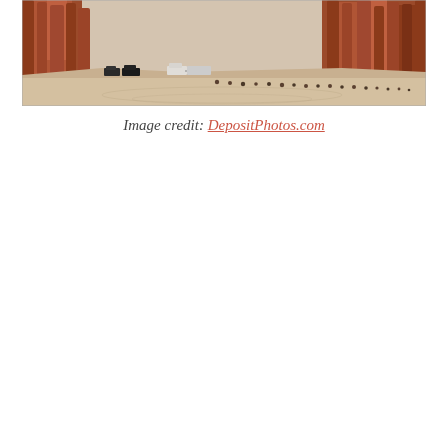[Figure (photo): Landscape photo of a desert scene with tall red rock cliffs/formations in the background and a sandy flat floor in the foreground. Several vehicles including trucks and what appears to be a camper/trailer are parked near the cliff base. A curved line of dark rocks or markers extends across the sandy floor.]
Image credit: DepositPhotos.com